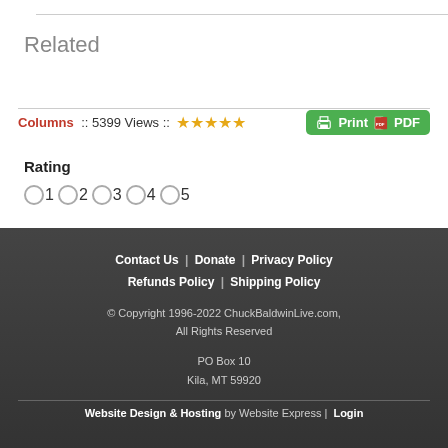Related
Columns :: 5399 Views :: ★★★★★
Rating
○1○2○3○4○5
Contact Us | Donate | Privacy Policy | Refunds Policy | Shipping Policy
© Copyright 1996-2022 ChuckBaldwinLive.com, All Rights Reserved
PO Box 10
Kila, MT 59920
Website Design & Hosting by Website Express | Login